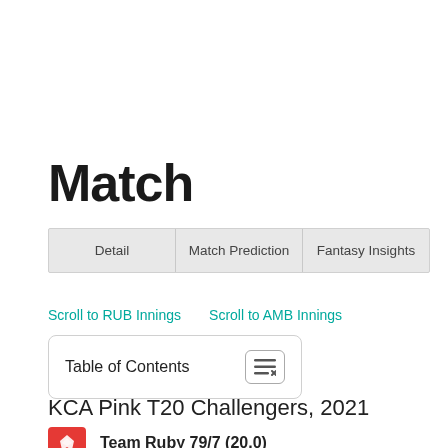Match
| Detail | Match Prediction | Fantasy Insights |
| --- | --- | --- |
Scroll to RUB Innings    Scroll to AMB Innings
Table of Contents
KCA Pink T20 Challengers, 2021
Team Ruby 79/7 (20.0)